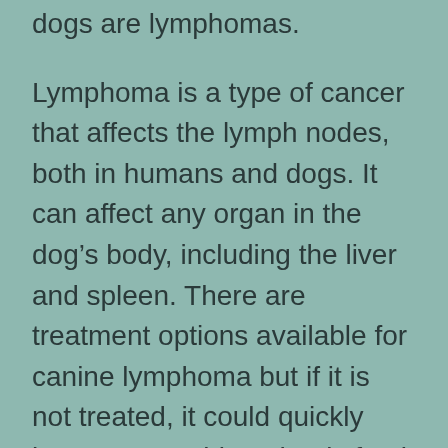dogs are lymphomas.
Lymphoma is a type of cancer that affects the lymph nodes, both in humans and dogs. It can affect any organ in the dog's body, including the liver and spleen. There are treatment options available for canine lymphoma but if it is not treated, it could quickly become a problem that is fatal. Lymphoma can be a very aggressive type of cancer that could quickly overtake the dog and his treatment is not given, they may get sick very quickly.
It is not fully known why lymphoma forms in